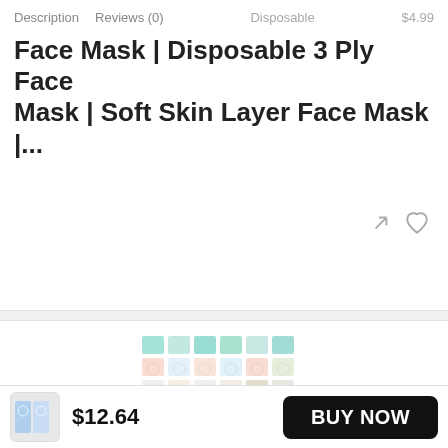Description   Reviews (0)   Disposable   $4.99
Face Mask | Disposable 3 Ply Face Mask | Soft Skin Layer Face Mask |...
[Figure (photo): Grid of colorful face mask sheet packets arranged in rows and columns with pastel colored packaging]
FACE MASKS
Dermal Korea Collagen Essence Full Face Facial Mask Sheet Combo (16 pcs)
$11.99
[Figure (photo): Small thumbnail image of face mask product packaging]
$12.64
BUY NOW